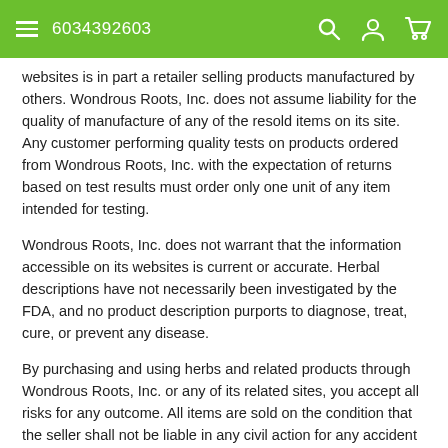6034392603
websites is in part a retailer selling products manufactured by others. Wondrous Roots, Inc. does not assume liability for the quality of manufacture of any of the resold items on its site. Any customer performing quality tests on products ordered from Wondrous Roots, Inc. with the expectation of returns based on test results must order only one unit of any item intended for testing.
Wondrous Roots, Inc. does not warrant that the information accessible on its websites is current or accurate. Herbal descriptions have not necessarily been investigated by the FDA, and no product description purports to diagnose, treat, cure, or prevent any disease.
By purchasing and using herbs and related products through Wondrous Roots, Inc. or any of its related sites, you accept all risks for any outcome. All items are sold on the condition that the seller shall not be liable in any civil action for any accident or injury occasioned during the transportation, handling, sale, storage or use of this